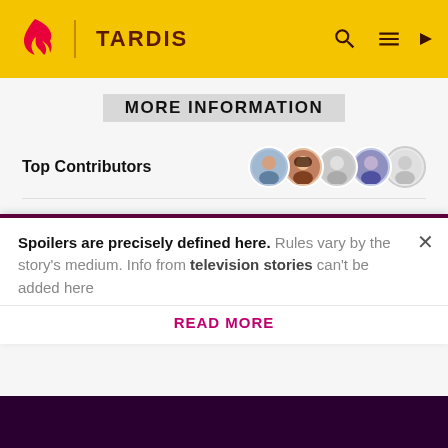TARDIS
MORE INFORMATION
Top Contributors
Categories
Community content is available under CC-BY-SA unless otherwise noted.
Spoilers are precisely defined here. Rules vary by the story's medium. Info from television stories can't be added here
READ MORE